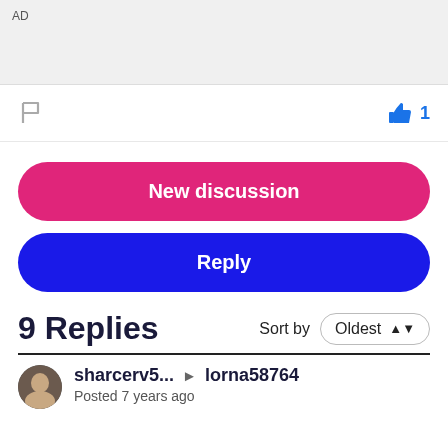AD
[Figure (other): Gray advertisement banner area]
[Figure (other): Flag icon (report) on left, thumbs up with count 1 on right]
New discussion
Reply
9 Replies
Sort by  Oldest
sharcerv5...  ▶  lorna58764
Posted 7 years ago